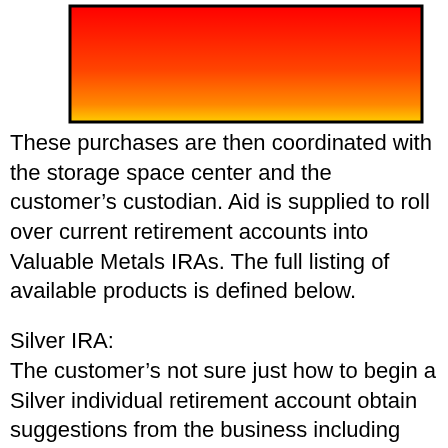[Figure (other): Red to yellow/orange gradient rectangle with black border, resembling a decorative banner or header image.]
These purchases are then coordinated with the storage space center and the customer’s custodian. Aid is supplied to roll over current retirement accounts into Valuable Metals IRAs. The full listing of available products is defined below.
Silver IRA:
The customer’s not sure just how to begin a Silver individual retirement account obtain suggestions from the business including which silver coins are acceptable.
Gold IRA:
Information is offered on starting a Gold IRA. This consists of the appropriate metals for